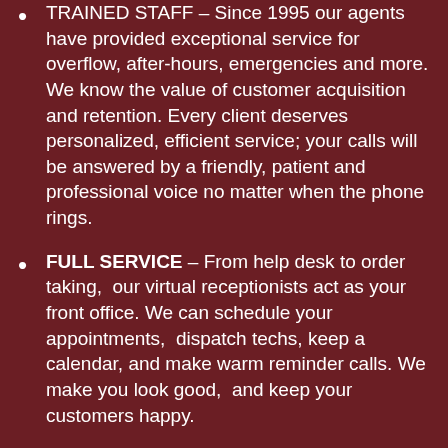TRAINED STAFF – Since 1995 our agents have provided exceptional service for overflow, after-hours, emergencies and more. We know the value of customer acquisition and retention. Every client deserves personalized, efficient service; your calls will be answered by a friendly, patient and professional voice no matter when the phone rings.
FULL SERVICE – From help desk to order taking,  our virtual receptionists act as your front office. We can schedule your appointments,  dispatch techs, keep a calendar, and make warm reminder calls. We make you look good,  and keep your customers happy.